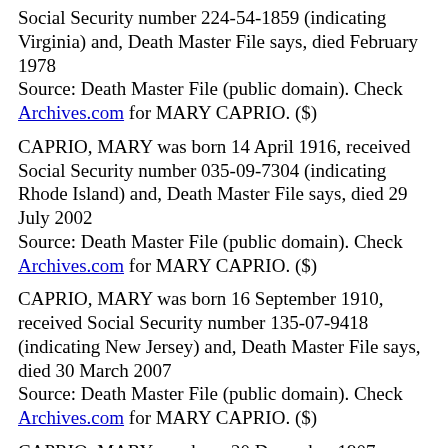Social Security number 224-54-1859 (indicating Virginia) and, Death Master File says, died February 1978
Source: Death Master File (public domain). Check Archives.com for MARY CAPRIO. ($)
CAPRIO, MARY was born 14 April 1916, received Social Security number 035-09-7304 (indicating Rhode Island) and, Death Master File says, died 29 July 2002
Source: Death Master File (public domain). Check Archives.com for MARY CAPRIO. ($)
CAPRIO, MARY was born 16 September 1910, received Social Security number 135-07-9418 (indicating New Jersey) and, Death Master File says, died 30 March 2007
Source: Death Master File (public domain). Check Archives.com for MARY CAPRIO. ($)
CAPRIO, MARY was born 20 December 1907, received Social Security number 271-62-7687